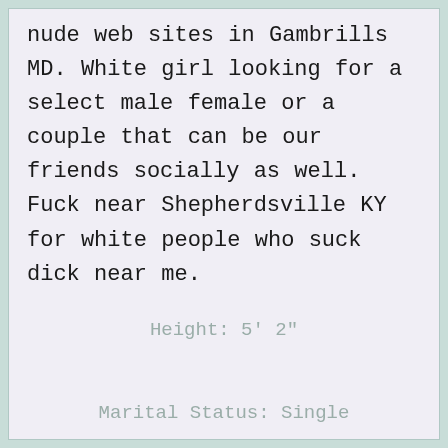nude web sites in Gambrills MD. White girl looking for a select male female or a couple that can be our friends socially as well. Fuck near Shepherdsville KY for white people who suck dick near me.
Height: 5' 2"
Marital Status: Single